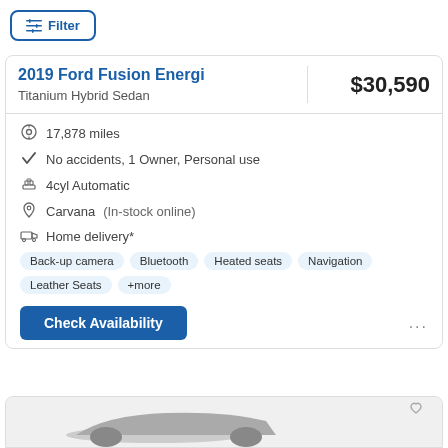Filter
2019 Ford Fusion Energi
Titanium Hybrid Sedan
$30,590
17,878 miles
No accidents, 1 Owner, Personal use
4cyl Automatic
Carvana (In-stock online)
Home delivery*
Back-up camera  Bluetooth  Heated seats  Navigation  Leather Seats  +more
Check Availability
[Figure (photo): Partial view of a car at the bottom of the page (cropped)]